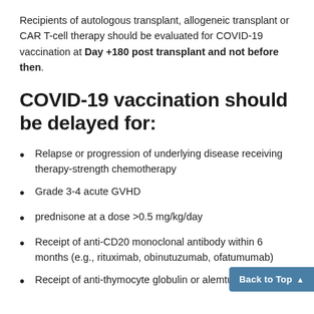Recipients of autologous transplant, allogeneic transplant or CAR T-cell therapy should be evaluated for COVID-19 vaccination at Day +180 post transplant and not before then.
COVID-19 vaccination should be delayed for:
Relapse or progression of underlying disease receiving therapy-strength chemotherapy
Grade 3-4 acute GVHD
prednisone at a dose >0.5 mg/kg/day
Receipt of anti-CD20 monoclonal antibody within 6 months (e.g., rituximab, obinutuzumab, ofatumumab)
Receipt of anti-thymocyte globulin or alemtuzum...